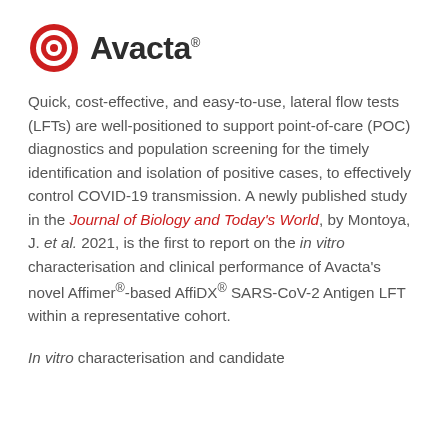[Figure (logo): Avacta logo: red circular target/bullseye icon on the left, bold dark text 'Avacta' with registered trademark superscript on the right]
Quick, cost-effective, and easy-to-use, lateral flow tests (LFTs) are well-positioned to support point-of-care (POC) diagnostics and population screening for the timely identification and isolation of positive cases, to effectively control COVID-19 transmission. A newly published study in the Journal of Biology and Today's World, by Montoya, J. et al. 2021, is the first to report on the in vitro characterisation and clinical performance of Avacta's novel Affimer®-based AffiDX® SARS-CoV-2 Antigen LFT within a representative cohort.
In vitro characterisation and candidate